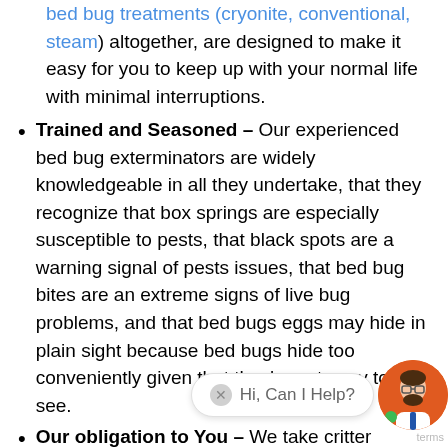bed bug treatments (cryonite, conventional, steam) altogether, are designed to make it easy for you to keep up with your normal life with minimal interruptions.
Trained and Seasoned – Our experienced bed bug exterminators are widely knowledgeable in all they undertake, that they recognize that box springs are especially susceptible to pests, that black spots are a warning signal of pests issues, that bed bug bites are an extreme signs of live bug problems, and that bed bugs eggs may hide in plain sight because bed bugs hide too conveniently given that they're not easy to see.
Our obligation to You – We take critter removal calls for help in home and business premises very seriously. Whether you would like to take back your residence from bed bug infestation, need commercial pest ... there for you with the best pest solutions tha...